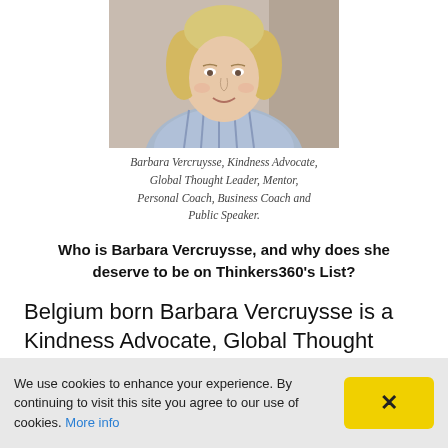[Figure (photo): Portrait photo of Barbara Vercruysse, a blonde woman smiling, wearing a blue striped shirt and gold necklace]
Barbara Vercruysse, Kindness Advocate, Global Thought Leader, Mentor, Personal Coach, Business Coach and Public Speaker.
Who is Barbara Vercruysse, and why does she deserve to be on Thinkers360's List?
Belgium born Barbara Vercruysse is a Kindness Advocate, Global Thought Leader,
We use cookies to enhance your experience. By continuing to visit this site you agree to our use of cookies. More info